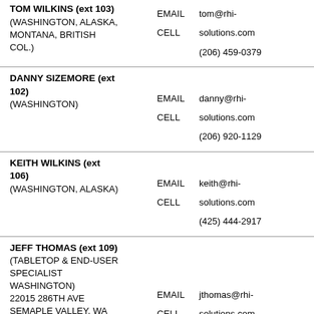TOM WILKINS (ext 103)
(WASHINGTON, ALASKA, MONTANA, BRITISH COL.)
EMAIL tom@rhi-solutions.com
CELL (206) 459-0379
DANNY SIZEMORE (ext 102)
(WASHINGTON)
EMAIL danny@rhi-solutions.com
CELL (206) 920-1129
KEITH WILKINS (ext 106)
(WASHINGTON, ALASKA)
EMAIL keith@rhi-solutions.com
CELL (425) 444-2917
JEFF THOMAS (ext 109)
(TABLETOP & END-USER SPECIALIST WASHINGTON)
22015 286TH AVE SEMAPLE VALLEY, WA 98038
EMAIL jthomas@rhi-solutions.com
CELL (425) 830-6204
BRYCE KOVAR (ext 105)